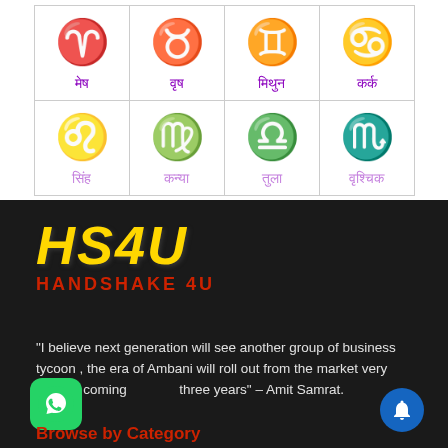[Figure (other): Grid of zodiac signs with purple icons and Hindi labels. Top row: Mesh (Aries), Vrishabh (Taurus), Mithun (Gemini), Kark (Cancer). Bottom row: Simha (Leo), Kanya (Virgo), Tula (Libra), Vrishchik (Scorpio).]
[Figure (logo): HS4U / HANDSHAKE 4U logo on dark background. HS4U in large yellow/gold italic bold font, HANDSHAKE 4U in red below.]
"I believe next generation will see another group of business tycoon , the era of Ambani will roll out from the market very soon in coming three years" – Amit Samrat.
Browse by Category